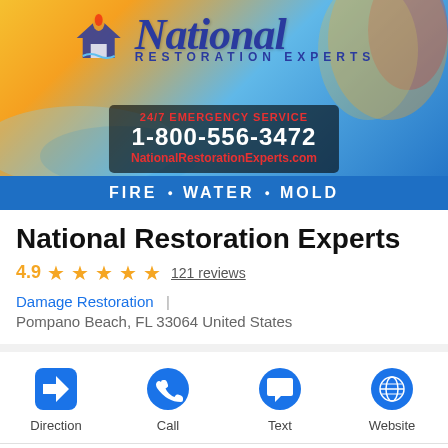[Figure (photo): National Restoration Experts branded car wrap showing company logo, 24/7 Emergency Service phone number 1-800-556-3472, website NationalRestorationExperts.com, and FIRE WATER MOLD banner on a blue vehicle]
National Restoration Experts
4.9 ★★★★★ 121 reviews
Damage Restoration | Pompano Beach, FL 33064 United States
Direction  Call  Text  Website